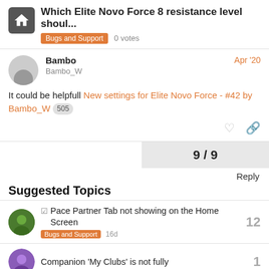Which Elite Novo Force 8 resistance level shoul... | Bugs and Support | 0 votes
Bambo
Bambo_W
Apr '20
It could be helpfull New settings for Elite Novo Force - #42 by Bambo_W 505
9 / 9
Reply
Suggested Topics
☑ Pace Partner Tab not showing on the Home Screen
Bugs and Support 16d
12
Companion 'My Clubs' is not fully
1